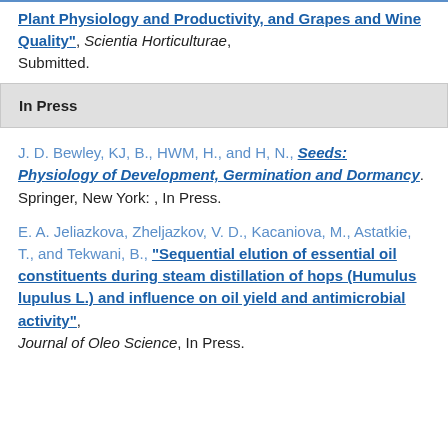Plant Physiology and Productivity, and Grapes and Wine Quality", Scientia Horticulturae, Submitted.
In Press
J. D. Bewley, KJ, B., HWM, H., and H, N., Seeds: Physiology of Development, Germination and Dormancy. Springer, New York: , In Press.
E. A. Jeliazkova, Zheljazkov, V. D., Kacaniova, M., Astatkie, T., and Tekwani, B., "Sequential elution of essential oil constituents during steam distillation of hops (Humulus lupulus L.) and influence on oil yield and antimicrobial activity", Journal of Oleo Science, In Press.